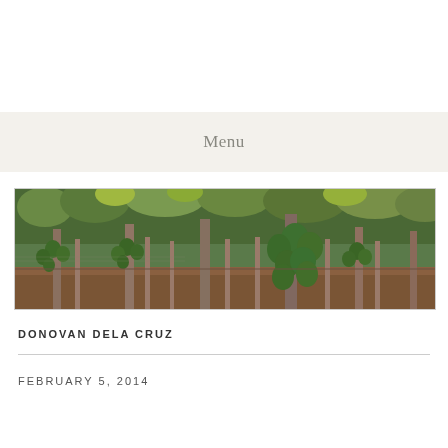Menu
[Figure (photo): Outdoor papaya plantation with rows of papaya trees bearing large green fruit clusters, lush green foliage, brown soil ground, tropical setting]
DONOVAN DELA CRUZ
FEBRUARY 5, 2014